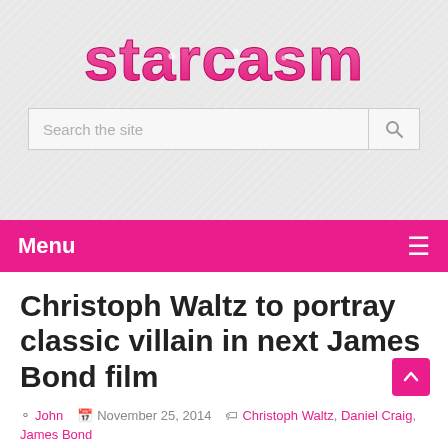[Figure (logo): Starcasm website logo in pink bubble letters]
Search the site
Menu
Christoph Waltz to portray classic villain in next James Bond film
John  November 25, 2014  Christoph Waltz, Daniel Craig, James Bond